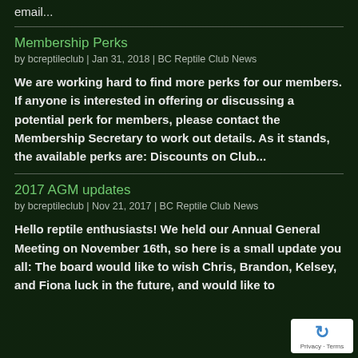email...
Membership Perks
by bcreptileclub | Jan 31, 2018 | BC Reptile Club News
We are working hard to find more perks for our members.  If anyone is interested in offering or discussing a potential perk for members, please contact the Membership Secretary to work out details.  As it stands, the available perks are: Discounts on Club...
2017 AGM updates
by bcreptileclub | Nov 21, 2017 | BC Reptile Club News
Hello reptile enthusiasts! We held our Annual General Meeting on November 16th, so here is a small update you all: The board would like to wish Chris, Brandon, Kelsey, and Fiona luck in the future, and would like to